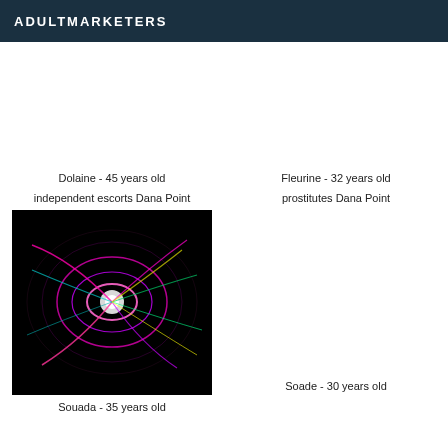ADULTMARKETERS
Dolaine - 45 years old
independent escorts Dana Point
[Figure (photo): Abstract neon light streaks on black background, colorful pink, green, yellow, teal swirling patterns]
Souada - 35 years old
Fleurine - 32 years old
prostitutes Dana Point
Soade - 30 years old